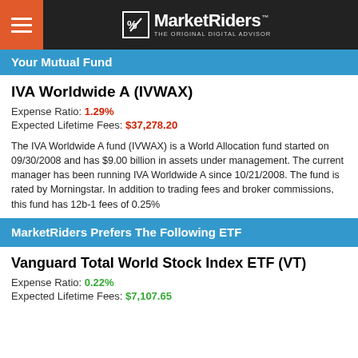MarketRiders THE ORIGINAL DIGITAL ADVISOR
Your Mutual Fund
IVA Worldwide A (IVWAX)
Expense Ratio: 1.29%
Expected Lifetime Fees: $37,278.20
The IVA Worldwide A fund (IVWAX) is a World Allocation fund started on 09/30/2008 and has $9.00 billion in assets under management. The current manager has been running IVA Worldwide A since 10/21/2008. The fund is rated by Morningstar. In addition to trading fees and broker commissions, this fund has 12b-1 fees of 0.25%
MarketRiders Prefers The Following ETF
Vanguard Total World Stock Index ETF (VT)
Expense Ratio: 0.22%
Expected Lifetime Fees: $7,107.65